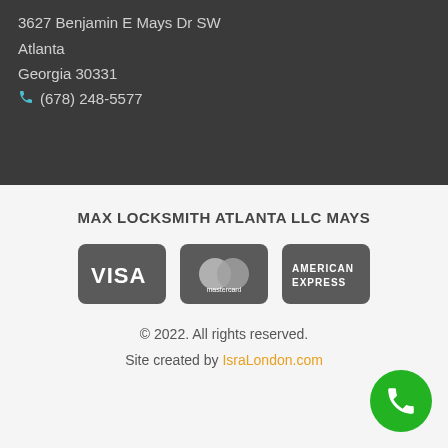3627 Benjamin E Mays Dr SW
Atlanta
Georgia 30331
(678) 248-5577
MAX LOCKSMITH ATLANTA LLC MAYS
[Figure (logo): Payment method logos: Visa, Mastercard, American Express displayed as gray rounded rectangles]
© 2022. All rights reserved.
Site created by IsraLondon.com
[Figure (other): Green circular phone call button in bottom right corner]